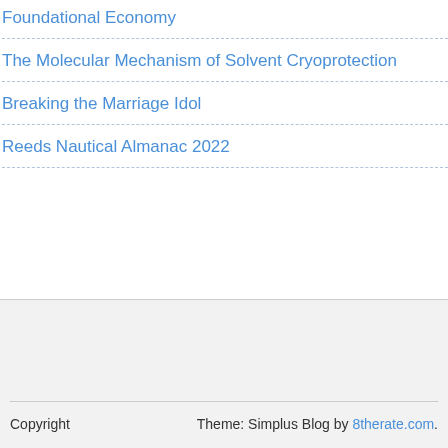Foundational Economy
The Molecular Mechanism of Solvent Cryoprotection
Breaking the Marriage Idol
Reeds Nautical Almanac 2022
Copyright   Theme: Simplus Blog by 8therate.com.